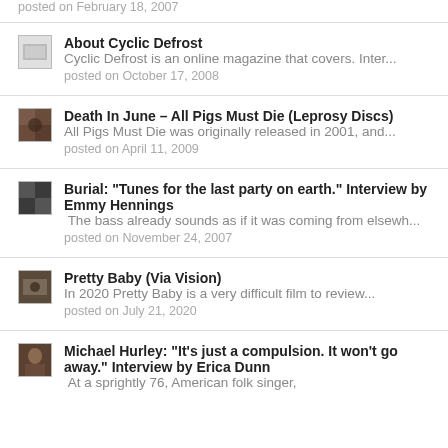posted on February 18, 2007
About Cyclic Defrost Cyclic Defrost is an online magazine that covers. Inter... posted on October 17, 2008
Death In June – All Pigs Must Die (Leprosy Discs) All Pigs Must Die was originally released in 2001, and... posted on April 11, 2009
Burial: "Tunes for the last party on earth." Interview by Emmy Hennings The bass already sounds as if it was coming from elsewh... posted on November 24, 2007
Pretty Baby (Via Vision) In 2020 Pretty Baby is a very difficult film to review... posted on July 21, 2020
Michael Hurley: "It's just a compulsion. It won't go away." Interview by Erica Dunn At a sprightly 76, American folk singer,